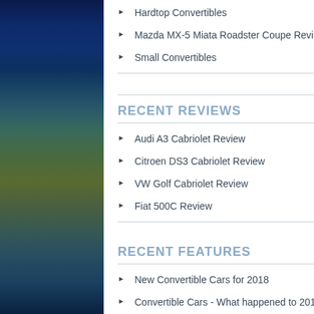Hardtop Convertibles
Mazda MX-5 Miata Roadster Coupe Review
Small Convertibles
RECENT REVIEWS
Audi A3 Cabriolet Review
Citroen DS3 Cabriolet Review
VW Golf Cabriolet Review
Fiat 500C Review
RECENT FEATURES
New Convertible Cars for 2018
Convertible Cars - What happened to 2017?
Buying a Used Convertible Car
New Convertible Cars for 2016